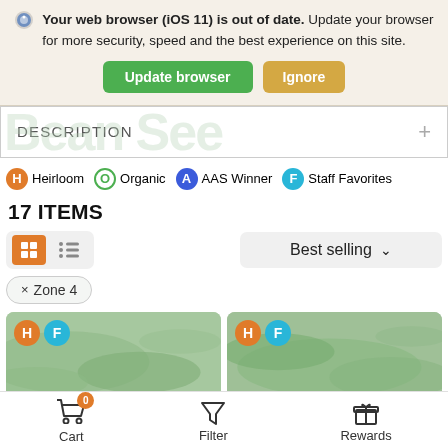Your web browser (iOS 11) is out of date. Update your browser for more security, speed and the best experience on this site.
Update browser | Ignore
DESCRIPTION
H Heirloom  O Organic  A AAS Winner  F Staff Favorites
17 ITEMS
Best selling
× Zone 4
[Figure (photo): Two product thumbnail images of bean seeds/plants with H and F badges]
Cart  Filter  Rewards